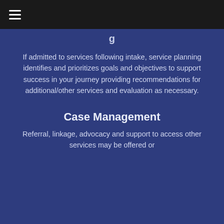≡
...g...
If admitted to services following intake, service planning identifies and prioritizes goals and objectives to support success in your journey providing recommendations for additional/other services and evaluation as necessary.
Case Management
Referral, linkage, advocacy and support to access other services may be offered or ...